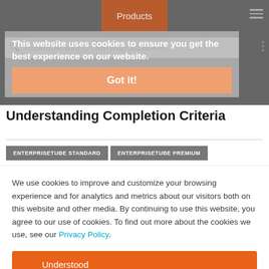[Figure (screenshot): Website navigation bar with Products tab (orange), hamburger menu, search bar]
This website uses cookies to ensure you get the best experience on our website.
Got it!
VIDIZMO VS / Getting Started / Media Management
Understanding Completion Criteria
ENTERPRISETUBE STANDARD
ENTERPRISETUBE PREMIUM
We use cookies to improve and customize your browsing experience and for analytics and metrics about our visitors both on this website and other media. By continuing to use this website, you agree to our use of cookies. To find out more about the cookies we use, see our Privacy Policy.
Understood